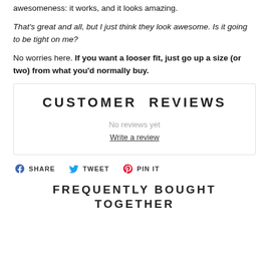awesomeness: it works, and it looks amazing.
That's great and all, but I just think they look awesome. Is it going to be tight on me?
No worries here. If you want a looser fit, just go up a size (or two) from what you'd normally buy.
CUSTOMER REVIEWS
No reviews yet
Write a review
SHARE  TWEET  PIN IT
FREQUENTLY BOUGHT TOGETHER